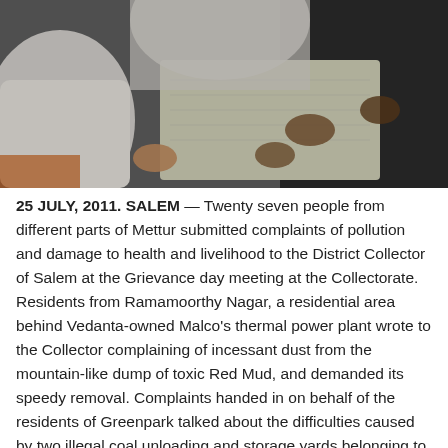[Figure (photo): Photograph of several people gathered around a table, hands visible, with papers/documents spread on the table surface. The image appears to show a grievance submission or petition signing.]
25 JULY, 2011. SALEM — Twenty seven people from different parts of Mettur submitted complaints of pollution and damage to health and livelihood to the District Collector of Salem at the Grievance day meeting at the Collectorate. Residents from Ramamoorthy Nagar, a residential area behind Vedanta-owned Malco's thermal power plant wrote to the Collector complaining of incessant dust from the mountain-like dump of toxic Red Mud, and demanded its speedy removal. Complaints handed in on behalf of the residents of Greenpark talked about the difficulties caused by two illegal coal unloading and storage yards belonging to Malco and Chemplast. The complaint pointed out that coal